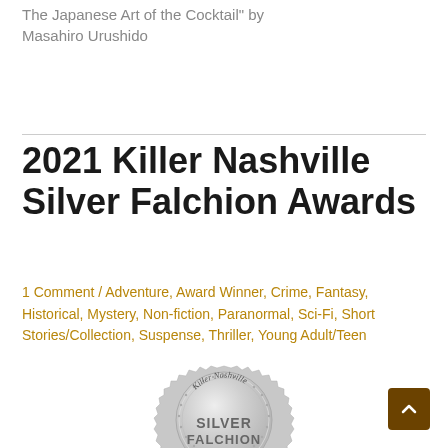The Japanese Art of the Cocktail" by Masahiro Urushido
2021 Killer Nashville Silver Falchion Awards
1 Comment / Adventure, Award Winner, Crime, Fantasy, Historical, Mystery, Non-fiction, Paranormal, Sci-Fi, Short Stories/Collection, Suspense, Thriller, Young Adult/Teen
[Figure (illustration): Silver Falchion Award medallion seal showing 'Killer Nashville SILVER FALCHION' text on a silver starburst badge]